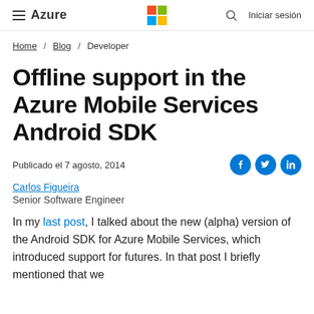≡ Azure   [Microsoft Logo]   🔍   Iniciar sesión
Home / Blog / Developer
Offline support in the Azure Mobile Services Android SDK
Publicado el 7 agosto, 2014
Carlos Figueira
Senior Software Engineer
In my last post, I talked about the new (alpha) version of the Android SDK for Azure Mobile Services, which introduced support for futures. In that post I briefly mentioned that we